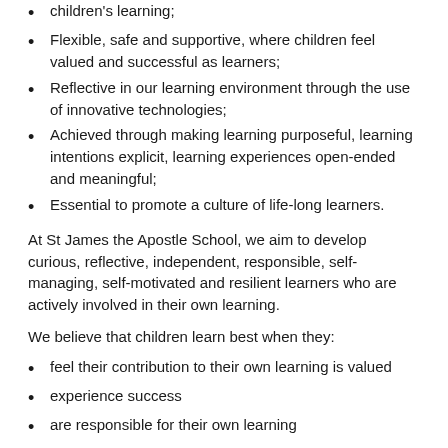children's learning;
Flexible, safe and supportive, where children feel valued and successful as learners;
Reflective in our learning environment through the use of innovative technologies;
Achieved through making learning purposeful, learning intentions explicit, learning experiences open-ended and meaningful;
Essential to promote a culture of life-long learners.
At St James the Apostle School, we aim to develop curious, reflective, independent, responsible, self-managing, self-motivated and resilient learners who are actively involved in their own learning.
We believe that children learn best when they:
feel their contribution to their own learning is valued
experience success
are responsible for their own learning
are actively involved in a variety of challenging learning